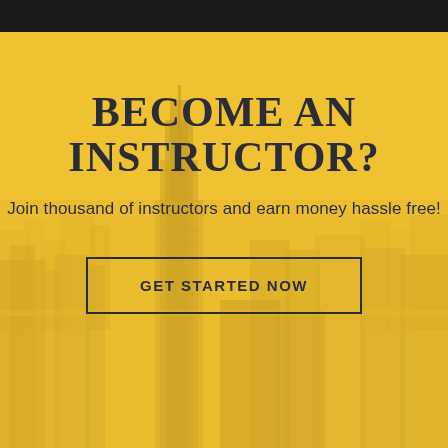[Figure (photo): Cityscape aerial view of New York City skyline with golden/yellow color overlay and black bar at top]
BECOME AN INSTRUCTOR?
Join thousand of instructors and earn money hassle free!
GET STARTED NOW